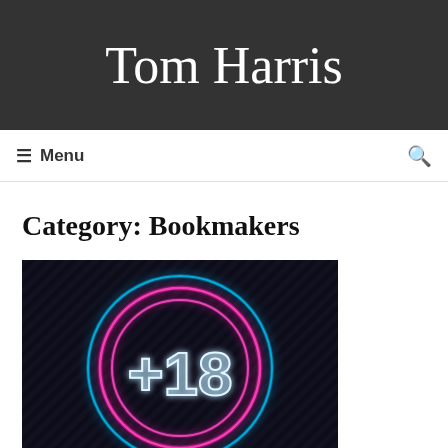Tom Harris
≡ Menu
Category: Bookmakers
[Figure (illustration): Neon +18 sign — glowing pink and blue concentric circles with '+18' text in neon style on a dark textured background]